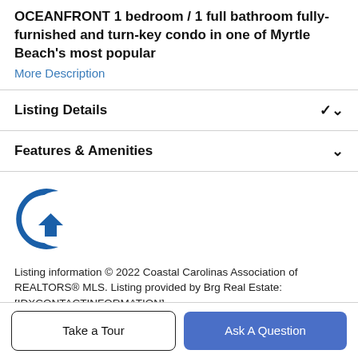OCEANFRONT 1 bedroom / 1 full bathroom fully-furnished and turn-key condo in one of Myrtle Beach's most popular
More Description
Listing Details
Features & Amenities
[Figure (logo): Coastal Carolinas Association of REALTORS MLS logo - blue crescent and house icon]
Listing information © 2022 Coastal Carolinas Association of REALTORS® MLS. Listing provided by Brg Real Estate: [IDXCONTACTINFORMATION].
Take a Tour
Ask A Question